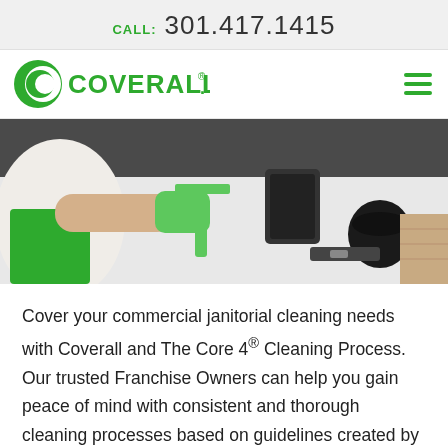CALL:  301.417.1415
[Figure (logo): Coverall logo in green with circular C icon and COVERALL. wordmark]
[Figure (photo): Overhead view of a person in green apron and gloves cleaning a white surface with a green squeegee, with cleaning equipment visible]
Cover your commercial janitorial cleaning needs with Coverall and The Core 4® Cleaning Process. Our trusted Franchise Owners can help you gain peace of mind with consistent and thorough cleaning processes based on guidelines created by the Centers for Disease Control